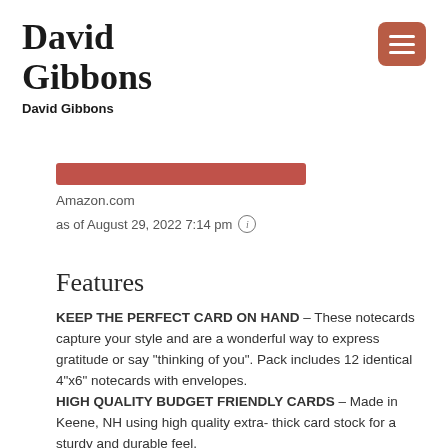David Gibbons
David Gibbons
[Figure (other): Redacted bar (red/salmon colored rectangle covering a link or URL)]
Amazon.com
as of August 29, 2022 7:14 pm
Features
KEEP THE PERFECT CARD ON HAND – These notecards capture your style and are a wonderful way to express gratitude or say “thinking of you”. Pack includes 12 identical 4”x6” notecards with envelopes.
HIGH QUALITY BUDGET FRIENDLY CARDS – Made in Keene, NH using high quality extra- thick card stock for a sturdy and durable feel.